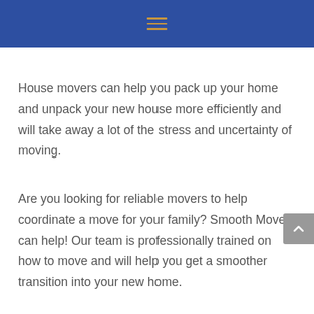≡
House movers can help you pack up your home and unpack your new house more efficiently and will take away a lot of the stress and uncertainty of moving.
Are you looking for reliable movers to help coordinate a move for your family? Smooth Move can help! Our team is professionally trained on how to move and will help you get a smoother transition into your new home.